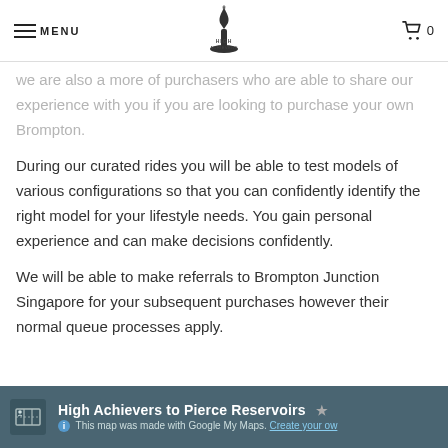MENU | High Achievers Logo | 0
we are also a more of purchasers who are able to share our experience with you if you are looking to purchase your own Brompton.
During our curated rides you will be able to test models of various configurations so that you can confidently identify the right model for your lifestyle needs. You gain personal experience and can make decisions confidently.
We will be able to make referrals to Brompton Junction Singapore for your subsequent purchases however their normal queue processes apply.
[Figure (screenshot): Google My Maps embed bar showing 'High Achievers to Pierce Reservoirs' with a star icon, info icon, and 'This map was made with Google My Maps. Create your own.' text on a teal/dark background.]